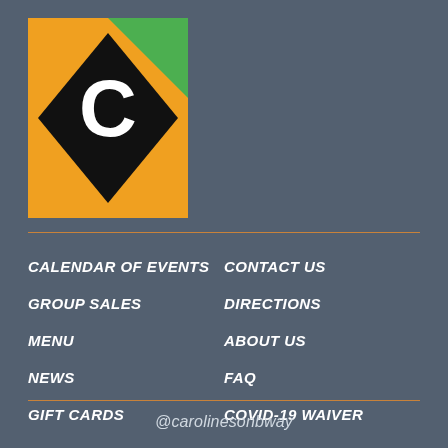[Figure (logo): Caroline's on Broadway logo: orange and green rectangle background with a large black diamond shape and white letter C in the center]
CALENDAR OF EVENTS
CONTACT US
GROUP SALES
DIRECTIONS
MENU
ABOUT US
NEWS
FAQ
GIFT CARDS
COVID-19 WAIVER
@carolinesonbway